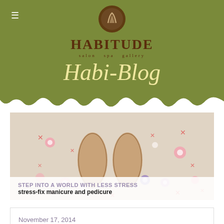[Figure (logo): Habitude salon spa gallery logo with circular icon above stylized text]
Habi-Blog
[Figure (photo): Close-up photo of feet with henna decoration in a basin surrounded by pink, red, and purple flowers]
STEP INTO A WORLD WITH LESS STRESS
stress-fix manicure and pedicure
November 17, 2014